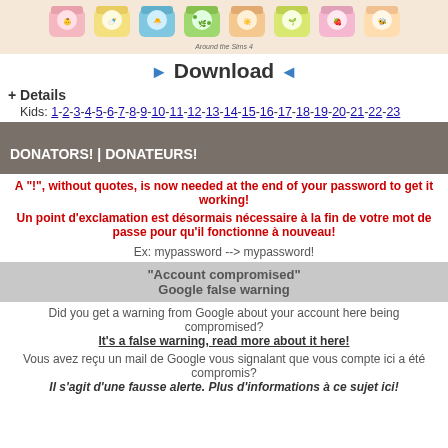[Figure (photo): Row of colorful baby food jars with cartoon labels, on a light background. Brand label 'Around the Sims 4' below.]
►Download◄
+ Details
Kids: 1-2-3-4-5-6-7-8-9-10-11-12-13-14-15-16-17-18-19-20-21-22-23
DONATORS! | DONATEURS!
A "!", without quotes, is now needed at the end of your password to get it working!
Un point d'exclamation est désormais nécessaire à la fin de votre mot de passe pour qu'il fonctionne à nouveau!
Ex: mypassword --> mypassword!
"Account compromised" Google false warning
Did you get a warning from Google about your account here being compromised? It's a false warning, read more about it here!
Vous avez reçu un mail de Google vous signalant que vous compte ici a été compromis? Il s'agit d'une fausse alerte. Plus d'informations à ce sujet ici!